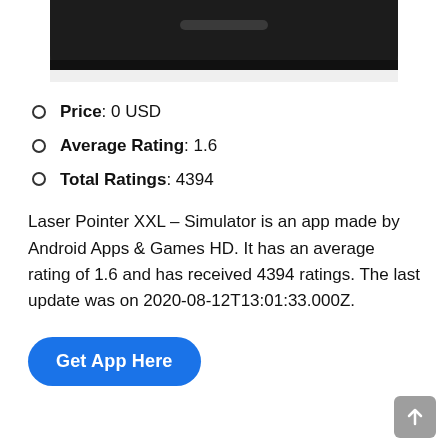[Figure (photo): Bottom portion of a dark smartphone device showing the bottom edge with a speaker grille, cropped at the top of the page.]
Price: 0 USD
Average Rating: 1.6
Total Ratings: 4394
Laser Pointer XXL – Simulator is an app made by Android Apps & Games HD. It has an average rating of 1.6 and has received 4394 ratings. The last update was on 2020-08-12T13:01:33.000Z.
[Figure (other): Blue rounded button labeled 'Get App Here' in white bold text.]
[Figure (other): Gray square scroll-to-top button with an upward arrow icon, positioned at bottom right.]